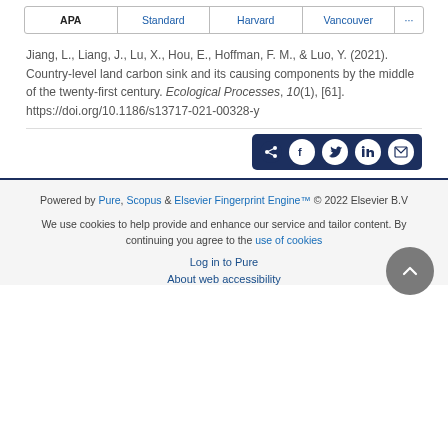APA | Standard | Harvard | Vancouver | ...
Jiang, L., Liang, J., Lu, X., Hou, E., Hoffman, F. M., & Luo, Y. (2021). Country-level land carbon sink and its causing components by the middle of the twenty-first century. Ecological Processes, 10(1), [61]. https://doi.org/10.1186/s13717-021-00328-y
Powered by Pure, Scopus & Elsevier Fingerprint Engine™ © 2022 Elsevier B.V
We use cookies to help provide and enhance our service and tailor content. By continuing you agree to the use of cookies
Log in to Pure
About web accessibility